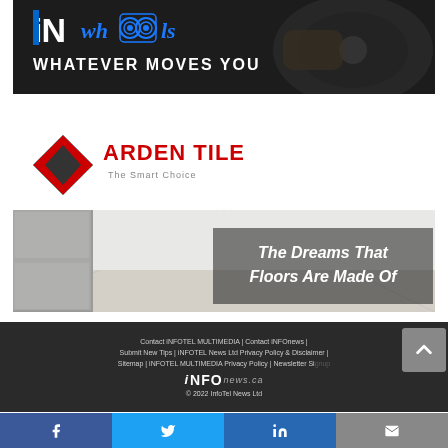[Figure (advertisement): iN wheels automotive advertisement with the tagline 'WHATEVER MOVES YOU' on a dark background with a person at a steering wheel]
[Figure (advertisement): Arden Tile advertisement with logo 'ARDEN TILE The Smart Choice' and text 'The Dreams That Floors Are Made Of' over a flooring showroom image]
Contact iNFOTEL MULTIMEDIA | Contact iNFOnews | Submit New Tips | iNFOTEL News Ltd Privacy Policy & Disclaimer | Sitemap | iNFOTEL MULTIMEDIA Privacy Policy | Newsletter Signup
[Figure (logo): iNFOnews.ca logo in white text]
© 2022 InfoTel News Ltd
[Figure (infographic): Social media sharing bar with Facebook, Twitter, LinkedIn, and email icons]